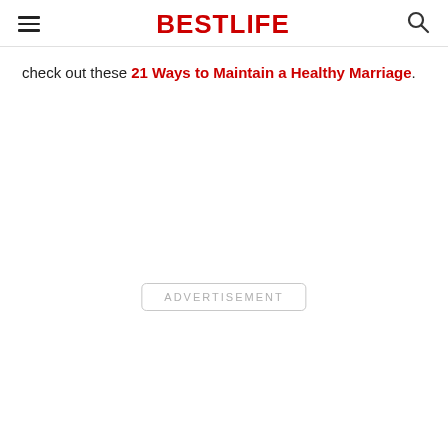BESTLIFE
check out these 21 Ways to Maintain a Healthy Marriage.
ADVERTISEMENT